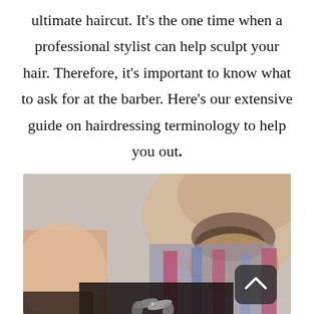ultimate haircut. It's the one time when a professional stylist can help sculpt your hair. Therefore, it's important to know what to ask for at the barber. Here's our extensive guide on hairdressing terminology to help you out.
[Figure (photo): Close-up photo of a barber holding scissors, with a bearded man's chin/neck visible in the background. The barber is wearing a patterned shirt with pink and other colors.]